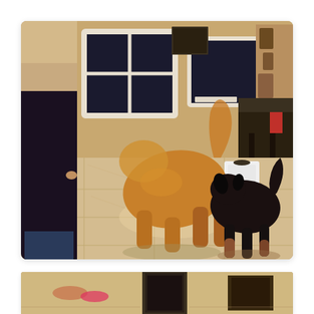[Figure (photo): Indoor photo of two dogs on a beige tile floor in a home. A golden/tan large dog (golden retriever type) is in the center with its tail raised, and a smaller black dog is to its right. A person stands to the left wearing dark clothing. The room has windows, dark furniture including a bar stool or side table, and decorative items on the wall. The lighting is warm/indoor.]
[Figure (photo): Partial view of a second photo at the bottom of the page, showing what appears to be a similar indoor scene — partially cut off at the bottom edge. Visible elements include what looks like sandals or shoes, a dark door, and a framed picture on the wall.]